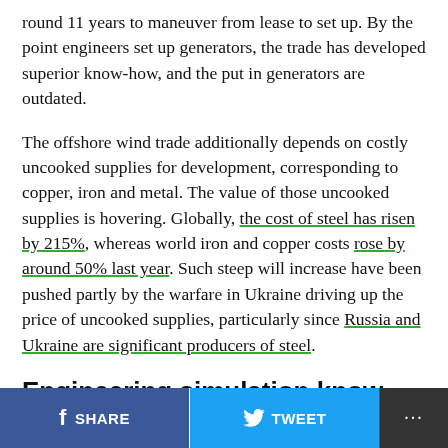round 11 years to maneuver from lease to set up. By the point engineers set up generators, the trade has developed superior know-how, and the put in generators are outdated.
The offshore wind trade additionally depends on costly uncooked supplies for development, corresponding to copper, iron and metal. The value of those uncooked supplies is hovering. Globally, the cost of steel has risen by 215%, whereas world iron and copper costs rose by around 50% last year. Such steep will increase have been pushed partly by the warfare in Ukraine driving up the price of uncooked supplies, particularly since Russia and Ukraine are significant producers of steel.
Engineering simulation know-how gives an revolutionary answer
SHARE   TWEET   ...